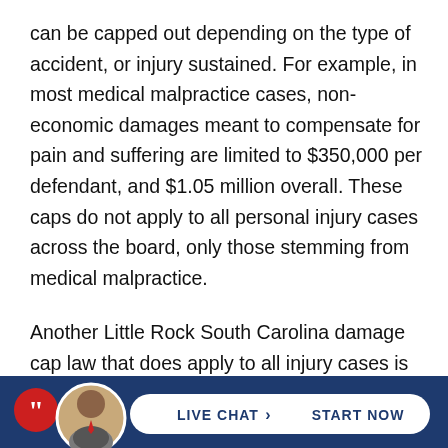can be capped out depending on the type of accident, or injury sustained.  For example, in most medical malpractice cases, non-economic damages meant to compensate for pain and suffering are limited to $350,000 per defendant, and $1.05 million overall. These caps do not apply to all personal injury cases across the board, only those stemming from medical malpractice.
Another Little Rock South Carolina damage cap law that does apply to all injury cases is one that covers punitive damages, which is compensation that is awarded to an injured plaintiff but is intended to punish the defendant for particularly [egregious behavior]...
[Figure (infographic): Footer bar with dark navy blue background containing: a red circular chat bubble icon, a circular avatar photo of a man in a suit, and a white pill-shaped button with bold blue text reading 'LIVE CHAT > START NOW']